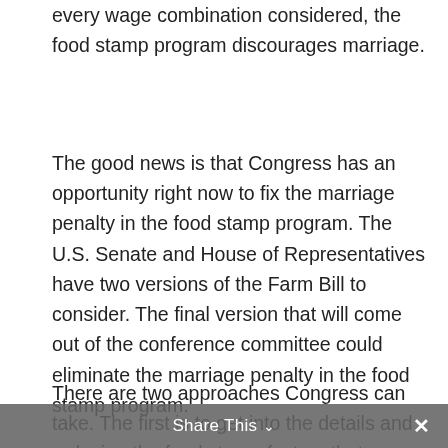every wage combination considered, the food stamp program discourages marriage.
The good news is that Congress has an opportunity right now to fix the marriage penalty in the food stamp program. The U.S. Senate and House of Representatives have two versions of the Farm Bill to consider. The final version that will come out of the conference committee could eliminate the marriage penalty in the food stamp program.
There are two approaches Congress can take. The first is to get into the details and redesign the food stamp factors that cause
Share This ∨  ✕